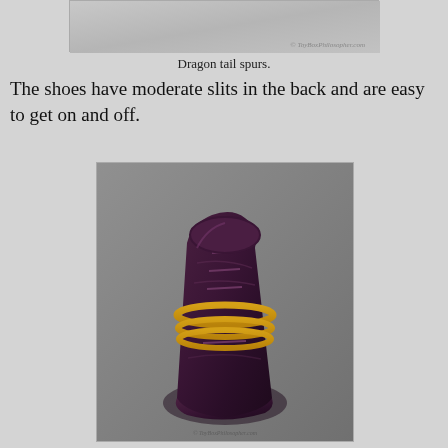[Figure (photo): Close-up photo of dragon tail spurs, shown against a gray background with a ToyBoxPhilosopher.com watermark]
Dragon tail spurs.
The shoes have moderate slits in the back and are easy to get on and off.
[Figure (photo): A dark purple dragon-themed boot/shoe with gold coiled rope/chain detail around the ankle, textured surface, and lace-up front, photographed against a gray background with ToyBoxPhilosopher.com watermark]